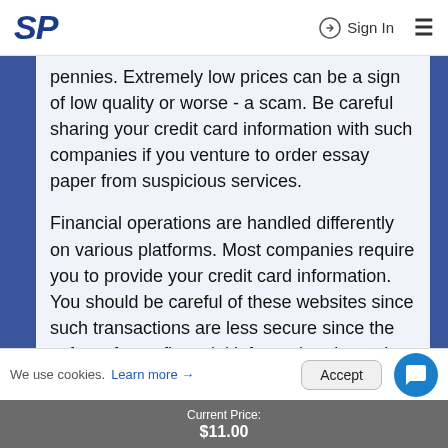SP  Sign In ≡
pennies. Extremely low prices can be a sign of low quality or worse - a scam. Be careful sharing your credit card information with such companies if you venture to order essay paper from suspicious services.
Financial operations are handled differently on various platforms. Most companies require you to provide your credit card information. You should be careful of these websites since such transactions are less secure since the safety of your financial information depends on the quality of data protection methods the company uses. Moreover, in case any disputes arise you will have less chance of getting a refund after you order an essay online.
We use cookies. Learn more →  Accept
Current Price:
$11.00